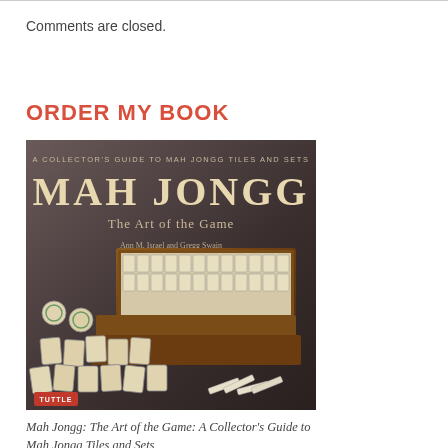Comments are closed.
ORDER MY BOOK
[Figure (photo): Book cover of 'Mah Jongg: The Art of the Game: A Collector's Guide to Mah Jongg Tiles and Sets' by Ann M. Israel and Gregg Swain, Photographs by Michel Arnaud. Published by Tuttle. Shows mah jongg tiles and a wooden carrying case.]
Mah Jongg: The Art of the Game: A Collector's Guide to Mah Jongg Tiles and Sets